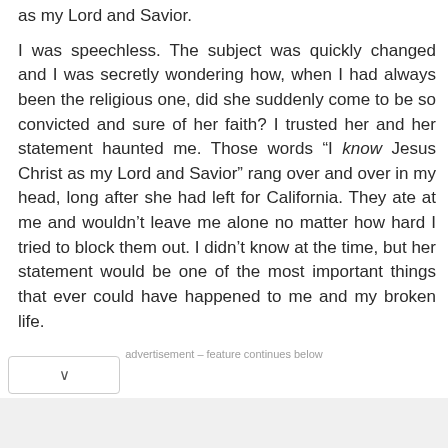as my Lord and Savior.

I was speechless. The subject was quickly changed and I was secretly wondering how, when I had always been the religious one, did she suddenly come to be so convicted and sure of her faith? I trusted her and her statement haunted me. Those words “I know Jesus Christ as my Lord and Savior” rang over and over in my head, long after she had left for California. They ate at me and wouldn’t leave me alone no matter how hard I tried to block them out. I didn’t know at the time, but her statement would be one of the most important things that ever could have happened to me and my broken life.
advertisement – feature continues below